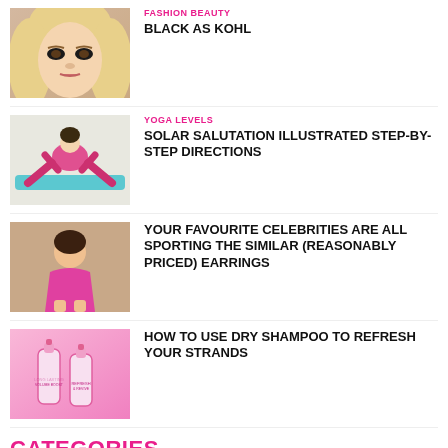[Figure (photo): Close-up of a blonde woman's face with smoky eye makeup]
FASHION BEAUTY
BLACK AS KOHL
[Figure (photo): Woman in pink outfit doing a yoga pose on a mat]
YOGA LEVELS
SOLAR SALUTATION ILLUSTRATED STEP-BY-STEP DIRECTIONS
[Figure (photo): Woman in pink dress sitting cross-legged]
YOUR FAVOURITE CELEBRITIES ARE ALL SPORTING THE SIMILAR (REASONABLY PRICED) EARRINGS
[Figure (photo): Pink dry shampoo products on pink background]
HOW TO USE DRY SHAMPOO TO REFRESH YOUR STRANDS
CATEGORIES